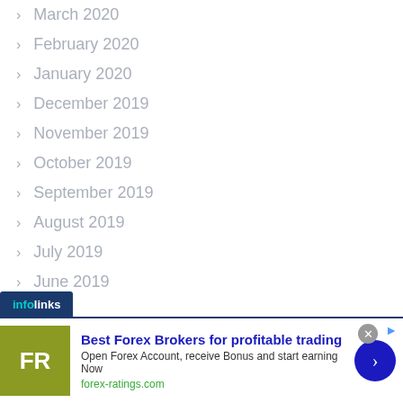March 2020
February 2020
January 2020
December 2019
November 2019
October 2019
September 2019
August 2019
July 2019
June 2019
[Figure (infographic): Infolinks advertisement banner: Best Forex Brokers for profitable trading. Open Forex Account, receive Bonus and start earning Now. forex-ratings.com]